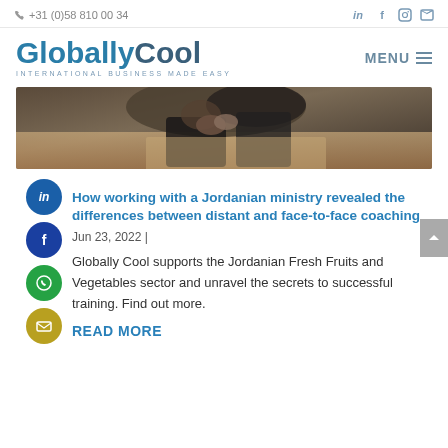+31 (0)58 810 00 34
[Figure (logo): GloballyCool logo with tagline INTERNATIONAL BUSINESS MADE EASY]
[Figure (photo): Hands on a wooden table, coaching session photo]
How working with a Jordanian ministry revealed the differences between distant and face-to-face coaching
Jun 23, 2022 |
Globally Cool supports the Jordanian Fresh Fruits and Vegetables sector and unravel the secrets to successful training. Find out more.
READ MORE